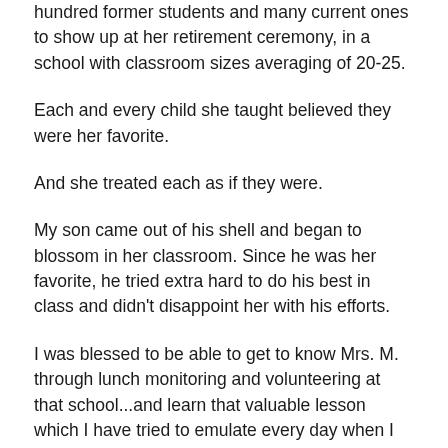hundred former students and many current ones to show up at her retirement ceremony, in a school with classroom sizes averaging of 20-25.
Each and every child she taught believed they were her favorite.
And she treated each as if they were.
My son came out of his shell and began to blossom in her classroom. Since he was her favorite, he tried extra hard to do his best in class and didn't disappoint her with his efforts.
I was blessed to be able to get to know Mrs. M. through lunch monitoring and volunteering at that school...and learn that valuable lesson which I have tried to emulate every day when I am at work, the bus, with friends or at home: